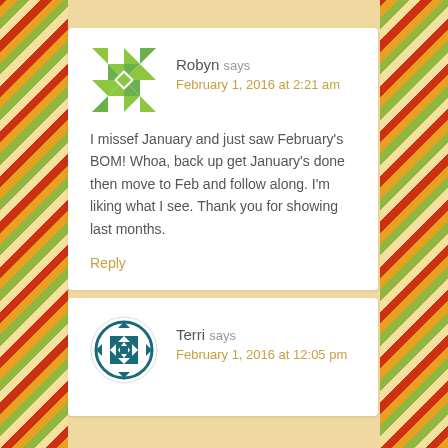Robyn says
February 1, 2016 at 2:21 am

I missef January and just saw February's BOM! Whoa, back up get January's done then move to Feb and follow along. I'm liking what I see. Thank you for showing last months.

Reply
Terri says
February 1, 2016 at 12:05 pm